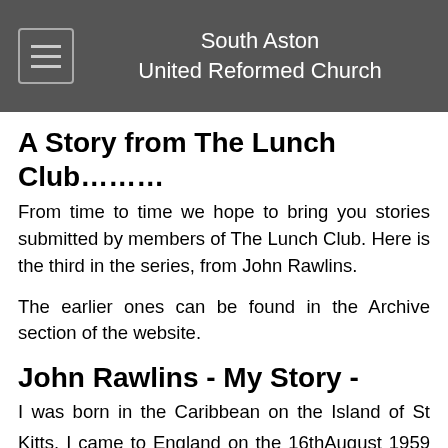South Aston United Reformed Church
A Story from The Lunch Club……..
From time to time we hope to bring you stories submitted by members of The Lunch Club. Here is the third in the series, from John Rawlins.
The earlier ones can be found in the Archive section of the website.
John Rawlins - My Story -
I was born in the Caribbean on the Island of St Kitts.  I came to England on the 16thAugust 1959 at the age of 19. As a teenager I found it frightening yet exciting travelling to England( The Mother Country). It was my first time of